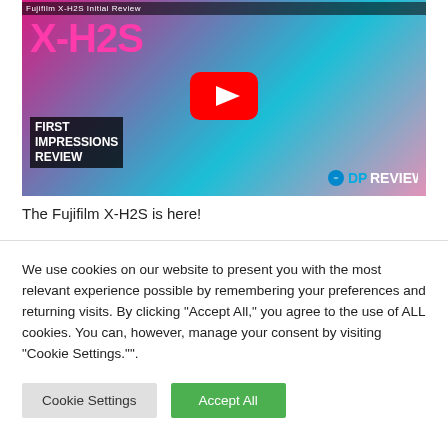[Figure (screenshot): YouTube video thumbnail for Fujifilm X-H2S First Impressions Review by DPReview, showing a man in red plaid shirt holding a camera, with pink/teal background. Large YouTube play button in center. Text overlay: X-H2S, FIRST IMPRESSIONS REVIEW, DPREVIEW logo.]
The Fujifilm X-H2S is here!
We use cookies on our website to present you with the most relevant experience possible by remembering your preferences and returning visits. By clicking "Accept All," you agree to the use of ALL cookies. You can, however, manage your consent by visiting "Cookie Settings."".